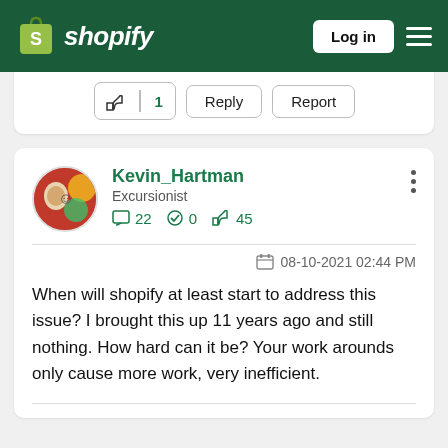Shopify — Log in
[Figure (screenshot): Partial comment card showing thumbs up (1), Reply, and Report buttons]
Kevin_Hartman
Excursionist
22  0  45
08-10-2021 02:44 PM
When will shopify at least start to address this issue?  I brought this up 11 years ago and still nothing.    How hard can it be?  Your work arounds only cause more work, very inefficient.